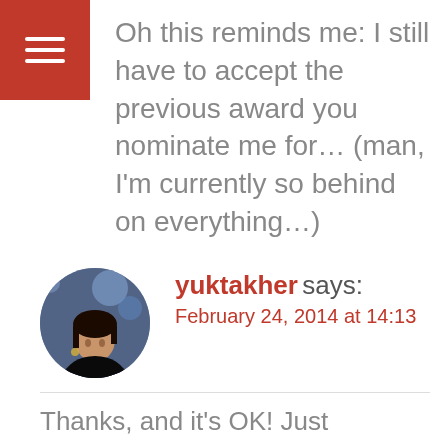[Figure (other): Red hamburger menu button icon in top-left corner]
Oh this reminds me: I still have to accept the previous award you nominate me for… (man, I'm currently so behind on everything…)
↩ Reply
[Figure (photo): Circular avatar photo of a woman (yuktakher)]
yuktakher says:
February 24, 2014 at 14:13
Thanks, and it's OK! Just